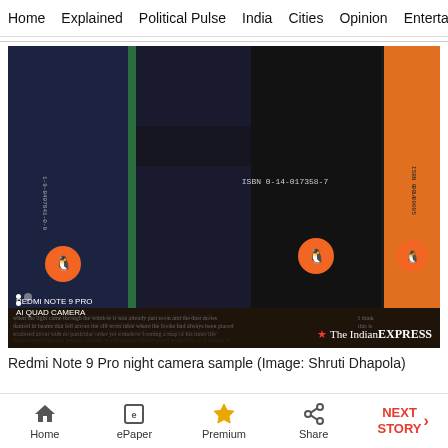Home  Explained  Political Pulse  India  Cities  Opinion  Entertainment
[Figure (photo): Close-up photo of Penguin book spines on a bookshelf shot with Redmi Note 9 Pro night camera. ISBN 0-14-017358-7 visible on center book spine. Three dark spines and one orange spine visible. The Indian Express watermark in bottom right.]
Redmi Note 9 Pro night camera sample (Image: Shruti Dhapola)
Home  ePaper  Premium  Share  NEXT STORY